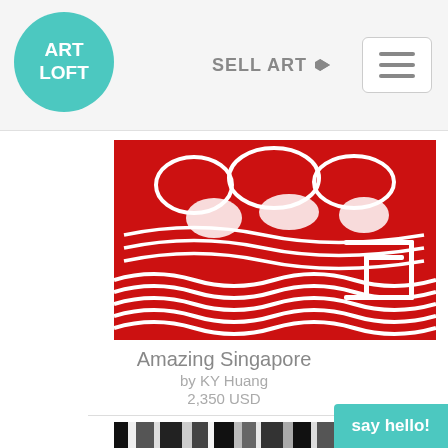ART LOFT | SELL ART
[Figure (illustration): Red and white abstract artwork titled 'Amazing Singapore' showing map-like organic shapes with wavy lines, by KY Huang]
Amazing Singapore
by KY Huang
2,350 USD
[Figure (photo): Black, white, and gray vertical stripes artwork, partially visible at bottom of page]
say hello!